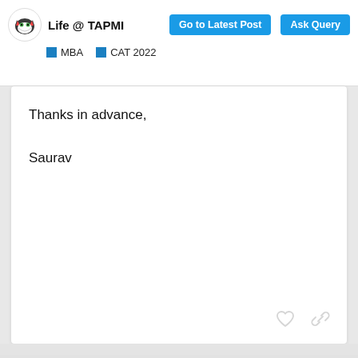Life @ TAPMI  Go to Latest Post  Ask Query  MBA  CAT 2022
Thanks in advance,

Saurav
[Figure (screenshot): Loading skeleton placeholder card showing blurred/greyed-out content blocks arranged in rows, indicating a content loading state for a sidebar or widget.]